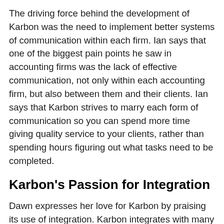The driving force behind the development of Karbon was the need to implement better systems of communication within each firm. Ian says that one of the biggest pain points he saw in accounting firms was the lack of effective communication, not only within each accounting firm, but also between them and their clients. Ian says that Karbon strives to marry each form of communication so you can spend more time giving quality service to your clients, rather than spending hours figuring out what tasks need to be completed.
Karbon's Passion for Integration
Dawn expresses her love for Karbon by praising its use of integration. Karbon integrates with many popular applications such as QuickBooks, Lisico, Ignition, and more! Ian says that Karbon is always striving to be at the forefront of technology, and is constantly moving forward to integrate with new applications that will enhance its existing features.